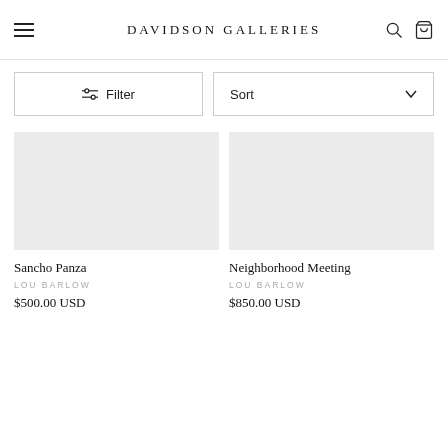DAVIDSON GALLERIES
Filter
Sort
Sancho Panza
LOU BARLOW
$500.00 USD
Neighborhood Meeting
LOU BARLOW
$850.00 USD